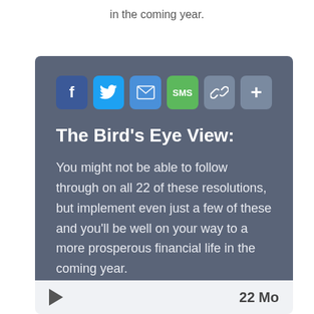in the coming year.
[Figure (infographic): Social sharing buttons row: Facebook (blue), Twitter (blue), Email (blue), SMS (green), Link (gray), Plus/More (gray)]
The Bird's Eye View:
You might not be able to follow through on all 22 of these resolutions, but implement even just a few of these and you'll be well on your way to a more prosperous financial life in the coming year.
[Figure (other): Bottom bar with play button icon on left and '22 Mo' text on right]